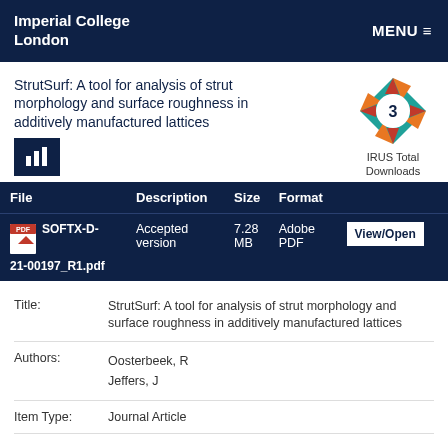Imperial College London  MENU ≡
StrutSurf: A tool for analysis of strut morphology and surface roughness in additively manufactured lattices
[Figure (logo): IRUS Total Downloads badge showing number 3, star/diamond shape in teal, red, and orange]
[Figure (infographic): Bar chart icon button (dark navy background, white bar chart icon)]
| File | Description | Size | Format |  |
| --- | --- | --- | --- | --- |
| SOFTX-D-21-00197_R1.pdf | Accepted version | 7.28 MB | Adobe PDF | View/Open |
| Title: | StrutSurf: A tool for analysis of strut morphology and surface roughness in additively manufactured lattices |
| Authors: | Oosterbeek, R
Jeffers, J |
| Item Type: | Journal Article |